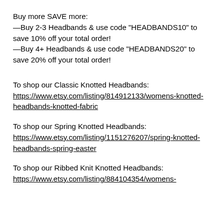Buy more SAVE more:
—Buy 2-3 Headbands & use code "HEADBANDS10" to save 10% off your total order!
—Buy 4+ Headbands & use code "HEADBANDS20" to save 20% off your total order!
To shop our Classic Knotted Headbands:
https://www.etsy.com/listing/814912133/womens-knotted-headbands-knotted-fabric
To shop our Spring Knotted Headbands:
https://www.etsy.com/listing/1151276207/spring-knotted-headbands-spring-easter
To shop our Ribbed Knit Knotted Headbands:
https://www.etsy.com/listing/884104354/womens-